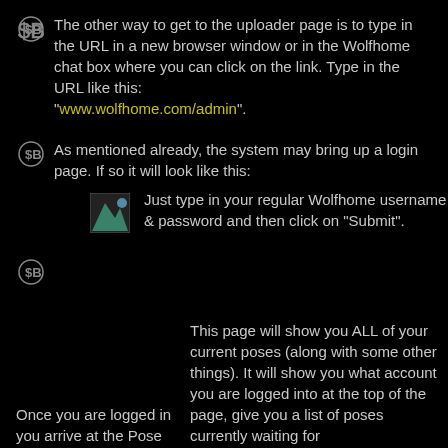The other way to get to the uploader page is to type in the URL in a new browser window or in the Wolfhome chat box where you can click on the link. Type in the URL like this: "www.wolfhome.com/admin".
As mentioned already, the system may bring up a login page. If so it will look like this: Just type in your regular Wolfhome username & password and then click on "Submit".
Once you are logged in you arrive at the Pose
This page will show you ALL of your current poses (along with some other things). It will show you what account you are logged into at the top of the page, give you a list of poses currently waiting for